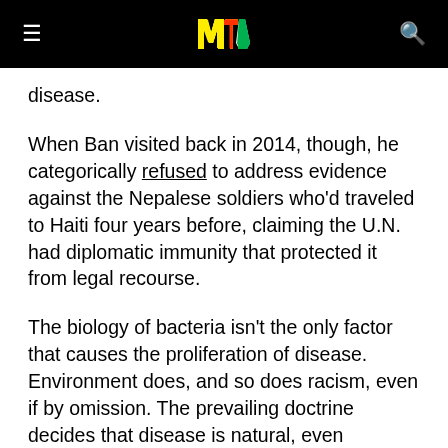MTV [logo] menu and search
disease.
When Ban visited back in 2014, though, he categorically refused to address evidence against the Nepalese soldiers who'd traveled to Haiti four years before, claiming the U.N. had diplomatic immunity that protected it from legal recourse.
The biology of bacteria isn't the only factor that causes the proliferation of disease. Environment does, and so does racism, even if by omission. The prevailing doctrine decides that disease is natural, even inevitable, in the sewage-laced disorder of atomized urban centers, or following natural disasters. This isn't good public health analysis and it's never been true. Sentimental journalism (coverage of the outbreak was dominated by